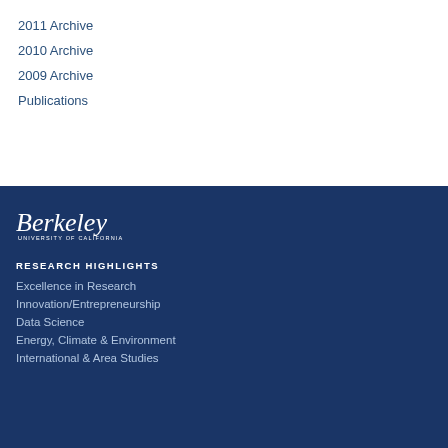2011 Archive
2010 Archive
2009 Archive
Publications
[Figure (logo): University of California Berkeley wordmark logo in white on dark navy background]
RESEARCH HIGHLIGHTS
Excellence in Research
Innovation/Entrepreneurship
Data Science
Energy, Climate & Environment
International & Area Studies